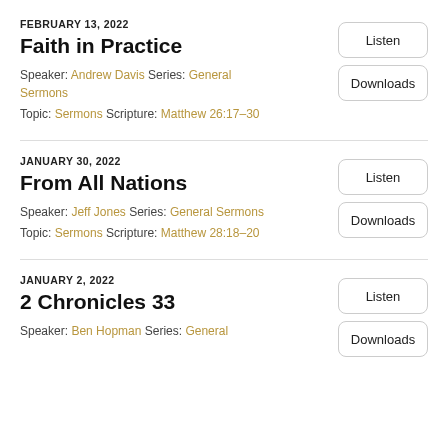FEBRUARY 13, 2022
Faith in Practice
Speaker: Andrew Davis Series: General Sermons
Topic: Sermons Scripture: Matthew 26:17–30
JANUARY 30, 2022
From All Nations
Speaker: Jeff Jones Series: General Sermons
Topic: Sermons Scripture: Matthew 28:18–20
JANUARY 2, 2022
2 Chronicles 33
Speaker: Ben Hopman Series: General